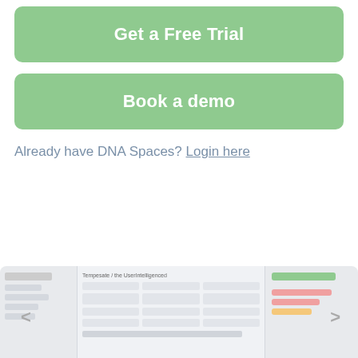Get a Free Trial
Book a demo
Already have DNA Spaces? Login here
[Figure (screenshot): Screenshot carousel showing DNA Spaces application interface panels with navigation arrows on left and right]